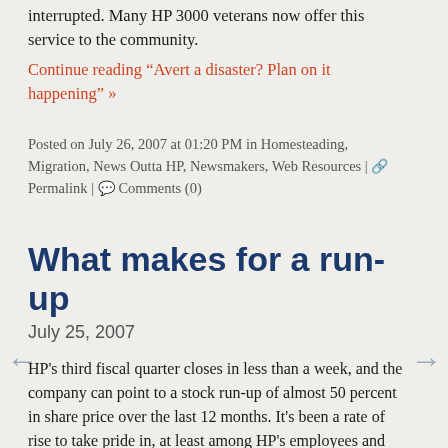interrupted. Many HP 3000 veterans now offer this service to the community.
Continue reading "Avert a disaster? Plan on it happening" »
Posted on July 26, 2007 at 01:20 PM in Homesteading, Migration, News Outta HP, Newsmakers, Web Resources | 🔗 Permalink | 💬 Comments (0)
What makes for a run-up
July 25, 2007
HP's third fiscal quarter closes in less than a week, and the company can point to a stock run-up of almost 50 percent in share price over the last 12 months. It's been a rate of rise to take pride in, at least among HP's employees and officers and the most loyal of customers. Like those who are staying with HP as they make their transition from the 3000. Choosing HP's Unix or HP servers is no slam-dunk sale for your